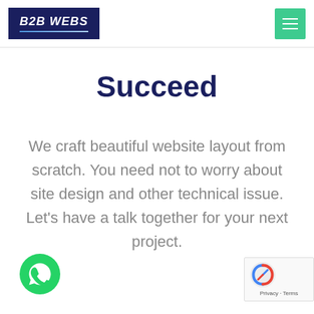B2B WEBS
Succeed
We craft beautiful website layout from scratch. You need not to worry about site design and other technical issue. Let's have a talk together for your next project.
[Figure (logo): WhatsApp green circle icon at bottom left]
[Figure (other): reCAPTCHA badge at bottom right showing Privacy and Terms]